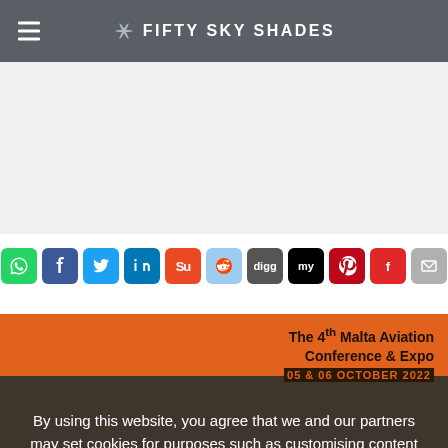FIFTY SKY SHADES
[Figure (screenshot): Social sharing icon buttons: WhatsApp, Facebook, Twitter, LinkedIn, StumbleUpon, Reddit, Digg, MySpace, Pinterest, Flipboard, Email]
[Figure (infographic): Orange banner: The 4th Malta Aviation Conference & Expo, 05 & 06 OCTOBER 2022, HILTON, MALTA]
By using this website, you agree that we and our partners may set cookies for purposes such as customising content and advertising. OK